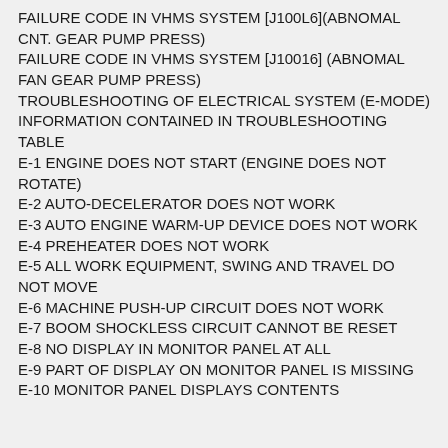FAILURE CODE IN VHMS SYSTEM [J100L6](ABNOMAL CNT. GEAR PUMP PRESS)
FAILURE CODE IN VHMS SYSTEM [J10016] (ABNOMAL FAN GEAR PUMP PRESS)
TROUBLESHOOTING OF ELECTRICAL SYSTEM (E-MODE)
INFORMATION CONTAINED IN TROUBLESHOOTING TABLE
E-1 ENGINE DOES NOT START (ENGINE DOES NOT ROTATE)
E-2 AUTO-DECELERATOR DOES NOT WORK
E-3 AUTO ENGINE WARM-UP DEVICE DOES NOT WORK
E-4 PREHEATER DOES NOT WORK
E-5 ALL WORK EQUIPMENT, SWING AND TRAVEL DO NOT MOVE
E-6 MACHINE PUSH-UP CIRCUIT DOES NOT WORK
E-7 BOOM SHOCKLESS CIRCUIT CANNOT BE RESET
E-8 NO DISPLAY IN MONITOR PANEL AT ALL
E-9 PART OF DISPLAY ON MONITOR PANEL IS MISSING
E-10 MONITOR PANEL DISPLAYS CONTENTS